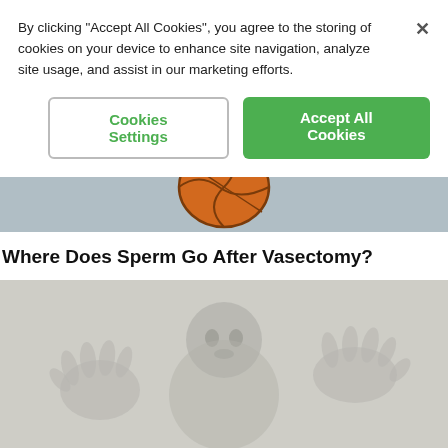By clicking “Accept All Cookies”, you agree to the storing of cookies on your device to enhance site navigation, analyze site usage, and assist in our marketing efforts.
Cookies Settings
Accept All Cookies
[Figure (photo): Partial view of a basketball against a blue-grey background]
Where Does Sperm Go After Vasectomy?
[Figure (photo): Blurry silhouette of a person pressing their hands and face against frosted or foggy glass, black and white image]